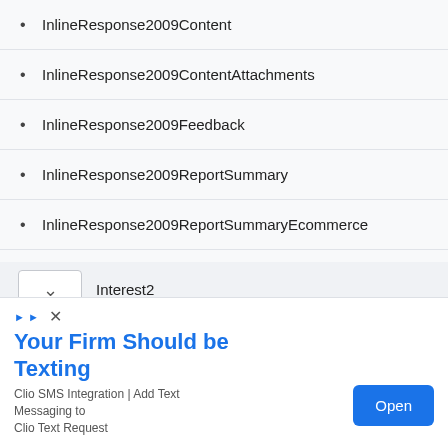InlineResponse2009Content
InlineResponse2009ContentAttachments
InlineResponse2009Feedback
InlineResponse2009ReportSummary
InlineResponse2009ReportSummaryEcommerce
InlineResponse2009Site
Interest
Interest1
Interest2